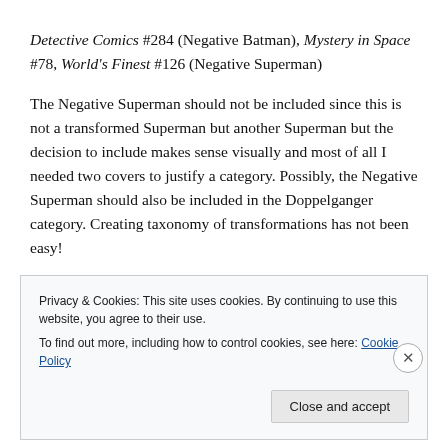Detective Comics #284 (Negative Batman), Mystery in Space #78, World's Finest #126 (Negative Superman)
The Negative Superman should not be included since this is not a transformed Superman but another Superman but the decision to include makes sense visually and most of all I needed two covers to justify a category.  Possibly, the Negative Superman should also be included in the Doppelganger category.  Creating taxonomy of transformations has not been easy!
Privacy & Cookies: This site uses cookies. By continuing to use this website, you agree to their use. To find out more, including how to control cookies, see here: Cookie Policy